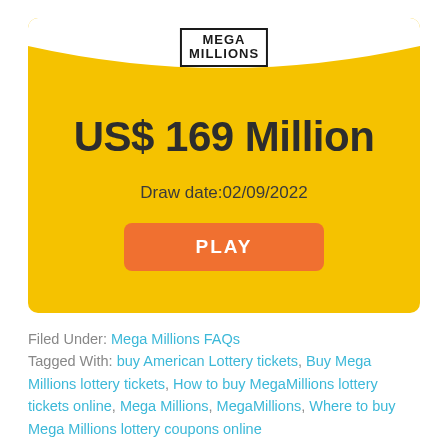[Figure (infographic): Mega Millions lottery jackpot card showing US$ 169 Million jackpot, draw date 02/09/2022, and a PLAY button. Yellow background with white wave at top and Mega Millions logo.]
Filed Under: Mega Millions FAQs
Tagged With: buy American Lottery tickets, Buy Mega Millions lottery tickets, How to buy MegaMillions lottery tickets online, Mega Millions, MegaMillions, Where to buy Mega Millions lottery coupons online